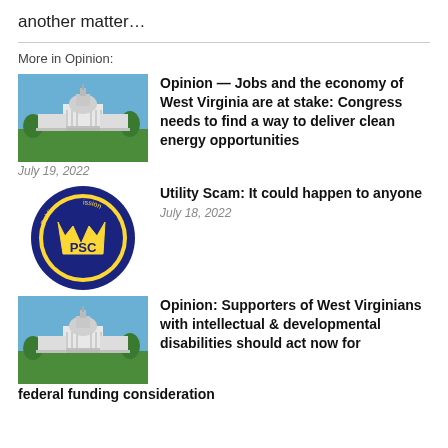another matter…
More in Opinion:
[Figure (photo): Photo of the US Capitol building with blue sky and green lawn]
Opinion — Jobs and the economy of West Virginia are at stake: Congress needs to find a way to deliver clean energy opportunities
July 19, 2022
[Figure (logo): PSC (Public Service Commission) circular logo with blue border and gold West Virginia state shape]
Utility Scam: It could happen to anyone
July 18, 2022
[Figure (photo): Photo of the US Capitol building with blue sky and green lawn]
Opinion: Supporters of West Virginians with intellectual & developmental disabilities should act now for federal funding consideration